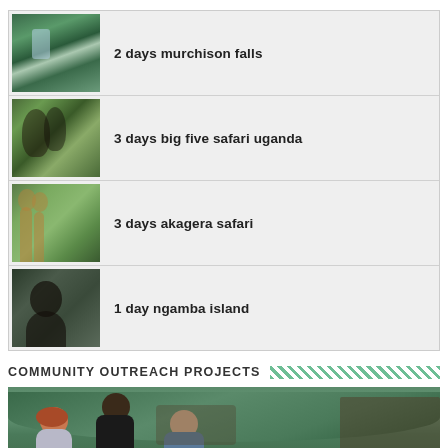2 days murchison falls
3 days big five safari uganda
3 days akagera safari
1 day ngamba island
COMMUNITY OUTREACH PROJECTS
[Figure (photo): Group photo of four people including a woman with red hair, a tall black man in black shirt, an older white man in blue shirt, and another person, standing outdoors with green hills and a vehicle in background]